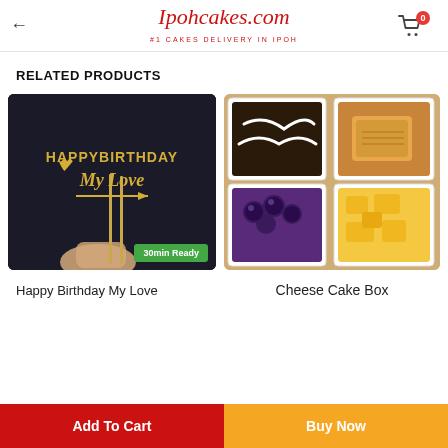Ipohcakes.com — #1 CAKES DELIVERY IN IPOH
RELATED PRODUCTS
[Figure (photo): Gold acrylic Happy Birthday My Love cake topper held by hand against dark background]
30min Ready
Happy Birthday My Love
[Figure (photo): Cheese Cake Box — multiple square dessert boxes with blueberry, mango and Oreo toppings]
Cheese Cake Box
Add To Cart | Buy Now